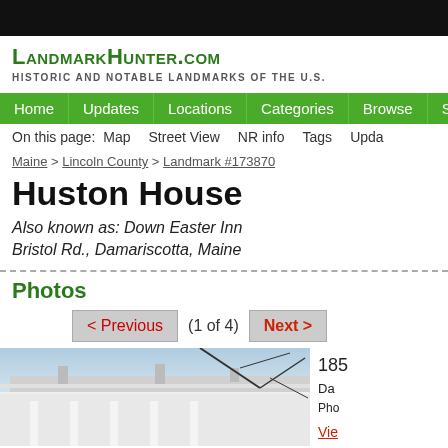LandmarkHunter.com
HISTORIC AND NOTABLE LANDMARKS OF THE U.S.
Home | Updates | Locations | Categories | Browse | Sources
On this page: Map  Street View  NR info  Tags  Updates
Maine > Lincoln County > Landmark #173870
Huston House
Also known as: Down Easter Inn
Bristol Rd., Damariscotta, Maine
Photos
< Previous  (1 of 4)  Next >
[Figure (photo): Exterior photo of Huston House, a historic white building with columns in Damariscotta, Maine. Bare tree branches visible in foreground.]